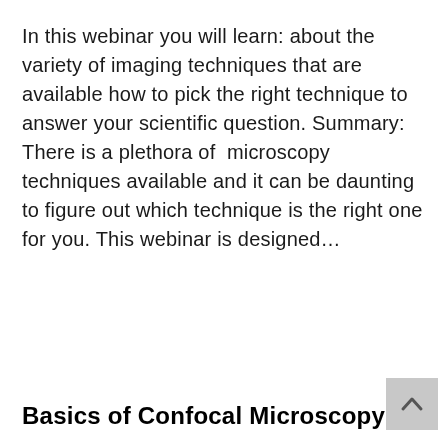In this webinar you will learn: about the variety of imaging techniques that are available how to pick the right technique to answer your scientific question. Summary: There is a plethora of  microscopy techniques available and it can be daunting to figure out which technique is the right one for you. This webinar is designed...
Basics of Confocal Microscopy